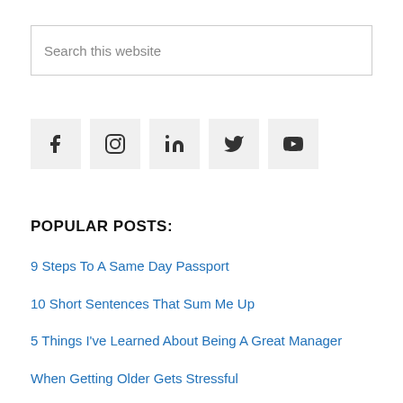Search this website
[Figure (infographic): Row of five social media icon buttons: Facebook, Instagram, LinkedIn, Twitter, YouTube]
POPULAR POSTS:
9 Steps To A Same Day Passport
10 Short Sentences That Sum Me Up
5 Things I've Learned About Being A Great Manager
When Getting Older Gets Stressful